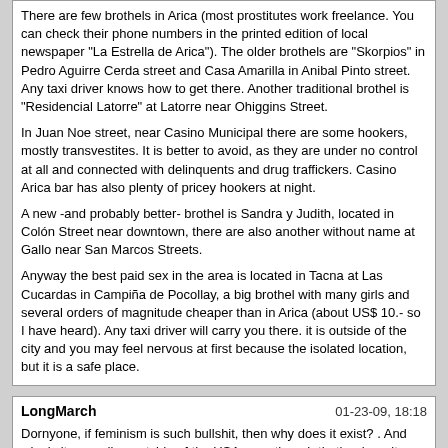There are few brothels in Arica (most prostitutes work freelance. You can check their phone numbers in the printed edition of local newspaper "La Estrella de Arica"). The older brothels are "Skorpios" in Pedro Aguirre Cerda street and Casa Amarilla in Anibal Pinto street. Any taxi driver knows how to get there. Another traditional brothel is "Residencial Latorre" at Latorre near Ohiggins Street.

In Juan Noe street, near Casino Municipal there are some hookers, mostly transvestites. It is better to avoid, as they are under no control at all and connected with delinquents and drug traffickers. Casino Arica bar has also plenty of pricey hookers at night.

A new -and probably better- brothel is Sandra y Judith, located in Colón Street near downtown, there are also another without name at Gallo near San Marcos Streets.

Anyway the best paid sex in the area is located in Tacna at Las Cucardas in Campiña de Pocollay, a big brothel with many girls and several orders of magnitude cheaper than in Arica (about US$ 10.- so I have heard). Any taxi driver will carry you there. it is outside of the city and you may feel nervous at first because the isolated location, but it is a safe place.
LongMarch | 01-23-09, 18:18

Dornyone, if feminism is such bullshit, then why does it exist? . And why is it spreading outside of the USA even though that's where it originated?

If more and more mongerers like you keep on deflecting feminism, there will be no mongering left.
Albert Punter | 01-24-09, 03:48

I just happened to read this report.
Sorry but I disagree about price level you mention and service.
Maybe I was just lucky or more lucky than other mongers.